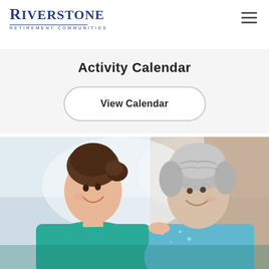RIVERSTONE RETIREMENT COMMUNITIES
Activity Calendar
View Calendar
[Figure (photo): A young female caregiver in a teal shirt smiling face-to-face with an elderly woman with grey hair wearing a light blue patterned shirt]